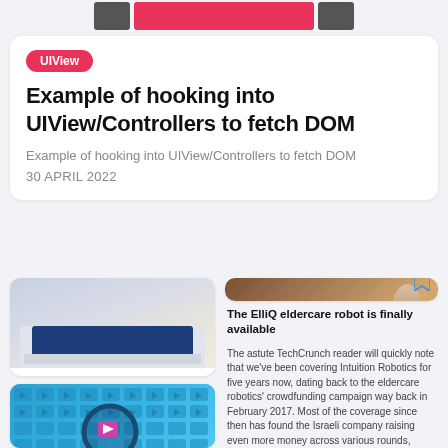[Figure (screenshot): Top image bar with dark rectangles on sides and pink/red center bar]
UIView
Example of hooking into UIView/Controllers to fetch DOM
Example of hooking into UIView/Controllers to fetch DOM
30 APRIL 2022
[Figure (photo): Apple iPad Air with white keyboard on light surface]
Apple's 2022 iPad Air elbows M1 into the lineup
[Figure (photo): Wooden desk with lamp and smart speaker device]
[Figure (screenshot): Blue background with video search magnifier illustration]
The ElliQ eldercare robot is finally available
The astute TechCrunch reader will quickly note that we've been covering Intuition Robotics for five years now, dating back to the eldercare robotics' crowdfunding campaign way back in February 2017. Most of the coverage since then has found the Israeli company raising even more money across various rounds,